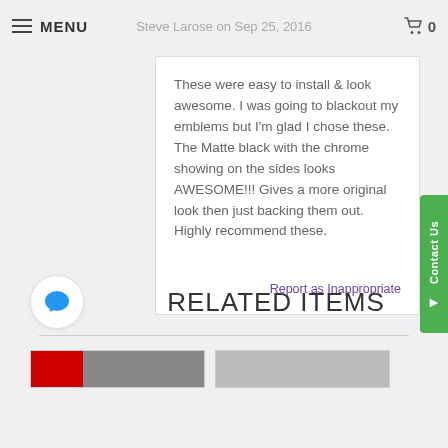MENU  Steve Larose on Sep 25, 2016  0
These were easy to install & look awesome. I was going to blackout my emblems but I'm glad I chose these. The Matte black with the chrome showing on the sides looks AWESOME!!! Gives a more original look then just backing them out. Highly recommend these.
Report as Inappropriate
RELATED ITEMS